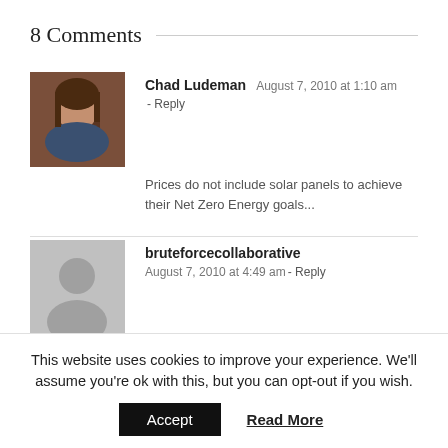8 Comments
Chad Ludeman  August 7, 2010 at 1:10 am - Reply
Prices do not include solar panels to achieve their Net Zero Energy goals...
bruteforcecollaborative  August 7, 2010 at 4:49 am - Reply
"designed with Passive House standards in mind."i don't even know what this means... i can design a 40,000sf mansion 'w/ Passive House standards in mind' – but unless it's actually built to passive house standards (and not whatever i think those standards are IN MY MIND). and
This website uses cookies to improve your experience. We'll assume you're ok with this, but you can opt-out if you wish.